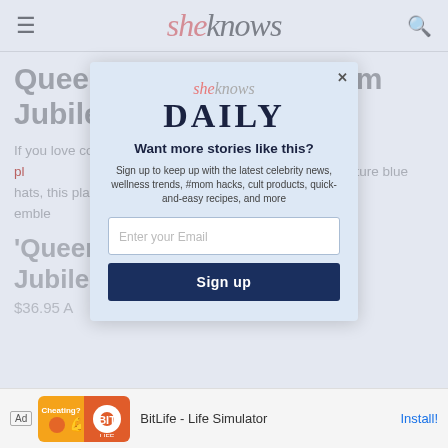sheknows
Queen Elizabeth Platinum Jubilee P[late]
If you love col[lecting royal memorab]ilia, then this portrait pl[ate is for you. Des]igned with a photo of the m[onarch wearing her sig]nature blue hats, this plate [features her signat]ure and a special emble[m commemorating the Platinum] Jubilee.
[Figure (screenshot): SheKnows Daily newsletter signup modal with email input and sign up button]
'Queen Elizabeth Platinum Jubilee Portrait Plate
$36.95 A[mazon]
[Figure (infographic): Advertisement banner: BitLife Life Simulator app ad with install button]